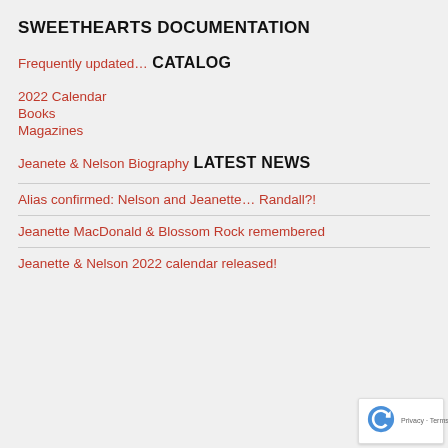SWEETHEARTS DOCUMENTATION
Frequently updated…
CATALOG
2022 Calendar
Books
Magazines
Jeanete & Nelson Biography
LATEST NEWS
Alias confirmed: Nelson and Jeanette… Randall?!
Jeanette MacDonald & Blossom Rock remembered
Jeanette & Nelson 2022 calendar released!